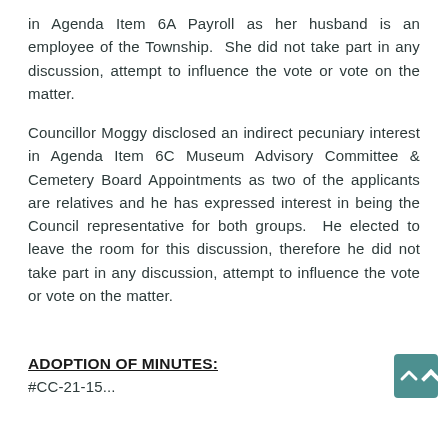in Agenda Item 6A Payroll as her husband is an employee of the Township.  She did not take part in any discussion, attempt to influence the vote or vote on the matter.
Councillor Moggy disclosed an indirect pecuniary interest in Agenda Item 6C Museum Advisory Committee & Cemetery Board Appointments as two of the applicants are relatives and he has expressed interest in being the Council representative for both groups.  He elected to leave the room for this discussion, therefore he did not take part in any discussion, attempt to influence the vote or vote on the matter.
ADOPTION OF MINUTES:
#CC-21-15...